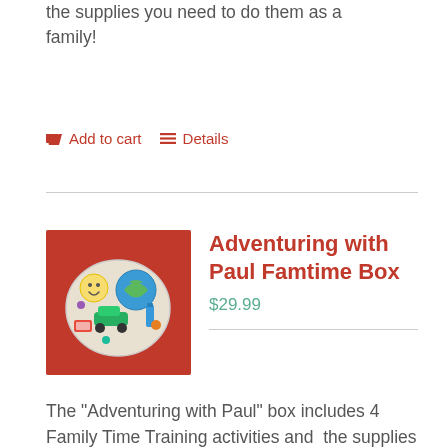the supplies you need to do them as a family!
Add to cart   Details
[Figure (photo): Photo of an 'Adventuring with Paul Famtime Box' showing a tin with a globe, smiley face toy, green toy car, stickers, and other colorful items on a red background.]
Adventuring with Paul Famtime Box
$29.99
The "Adventuring with Paul" box includes 4 Family Time Training activities and  the supplies you need to do them as a family!